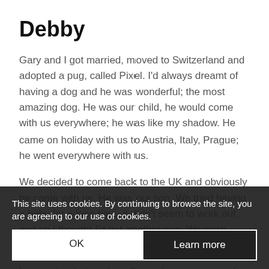Debby
Gary and I got married, moved to Switzerland and adopted a pug, called Pixel. I'd always dreamt of having a dog and he was wonderful; the most amazing dog. He was our child, he would come with us everywhere; he was like my shadow. He came on holiday with us to Austria, Italy, Prague; he went everywhere with us.
We decided to come back to the UK and obviously he came with us. He was our son. We tried having a baby for a long time, it didn't seem to work out and so I thought I'd get another pug. We were looking and then I got pregnant.
I remember being about 8 months pregnant and crying, thinking 'I'm never going to love this child as much as I love Pixel'. This is how important Pixel was. When our daughter was about 8 years- they said we nee agreeing to our use of cookies. ght he is just a bit funny, as pugs a week away from being 8 years old, so quit
This site uses cookies. By continuing to browse the site, you are agreeing to our use of cookies.